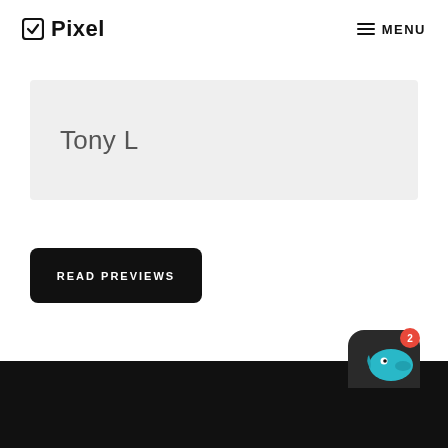Pixel — MENU
Tony L
READ PREVIEWS